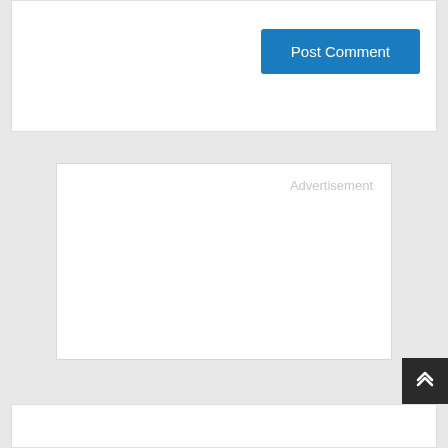[Figure (screenshot): White panel with Post Comment button at top right]
Post Comment
[Figure (other): Advertisement placeholder box with 'Advertisement' label in light gray at top right]
Advertisement
[Figure (other): Back to top button with double chevron arrow, dark background, positioned at bottom right]
[Figure (screenshot): White panel at the bottom of the page]